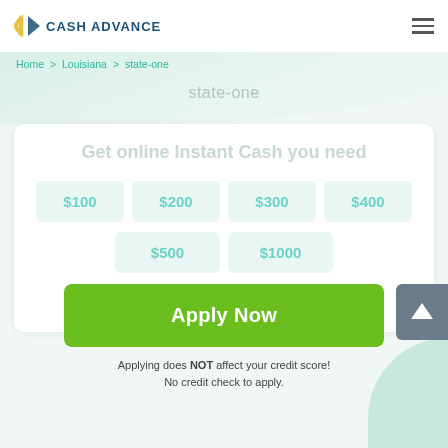CASH ADVANCE
Home > Louisiana > state-one
state-one
Get online Instant Cash you need
$100
$200
$300
$400
$500
$1000
OR
Apply Now
Applying does NOT affect your credit score! No credit check to apply.